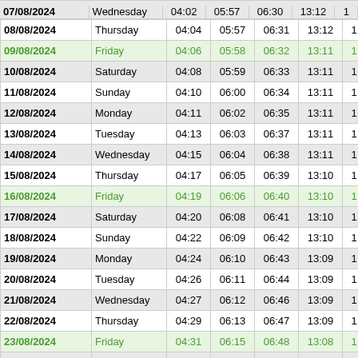| Date | Day | Col3 | Col4 | Col5 | Col6 | Col7 |
| --- | --- | --- | --- | --- | --- | --- |
| 07/08/2024 | Wednesday | 04:02 | 05:57 | 06:30 | 13:12 | 1 |
| 08/08/2024 | Thursday | 04:04 | 05:57 | 06:31 | 13:12 | 1 |
| 09/08/2024 | Friday | 04:06 | 05:58 | 06:32 | 13:11 | 1 |
| 10/08/2024 | Saturday | 04:08 | 05:59 | 06:33 | 13:11 | 1 |
| 11/08/2024 | Sunday | 04:10 | 06:00 | 06:34 | 13:11 | 1 |
| 12/08/2024 | Monday | 04:11 | 06:02 | 06:35 | 13:11 | 1 |
| 13/08/2024 | Tuesday | 04:13 | 06:03 | 06:37 | 13:11 | 1 |
| 14/08/2024 | Wednesday | 04:15 | 06:04 | 06:38 | 13:11 | 1 |
| 15/08/2024 | Thursday | 04:17 | 06:05 | 06:39 | 13:10 | 1 |
| 16/08/2024 | Friday | 04:19 | 06:06 | 06:40 | 13:10 | 1 |
| 17/08/2024 | Saturday | 04:20 | 06:08 | 06:41 | 13:10 | 1 |
| 18/08/2024 | Sunday | 04:22 | 06:09 | 06:42 | 13:10 | 1 |
| 19/08/2024 | Monday | 04:24 | 06:10 | 06:43 | 13:09 | 1 |
| 20/08/2024 | Tuesday | 04:26 | 06:11 | 06:44 | 13:09 | 1 |
| 21/08/2024 | Wednesday | 04:27 | 06:12 | 06:46 | 13:09 | 1 |
| 22/08/2024 | Thursday | 04:29 | 06:13 | 06:47 | 13:09 | 1 |
| 23/08/2024 | Friday | 04:31 | 06:15 | 06:48 | 13:08 | 1 |
| 24/08/2024 | Saturday | 04:33 | 06:16 | 06:49 | 13:08 | 1 |